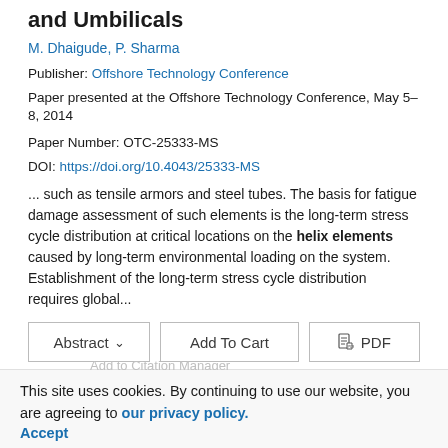and Umbilicals
M. Dhaigude, P. Sharma
Publisher: Offshore Technology Conference
Paper presented at the Offshore Technology Conference, May 5–8, 2014
Paper Number: OTC-25333-MS
DOI: https://doi.org/10.4043/25333-MS
... such as tensile armors and steel tubes. The basis for fatigue damage assessment of such elements is the long-term stress cycle distribution at critical locations on the helix elements caused by long-term environmental loading on the system. Establishment of the long-term stress cycle distribution requires global...
This site uses cookies. By continuing to use our website, you are agreeing to our privacy policy. Accept